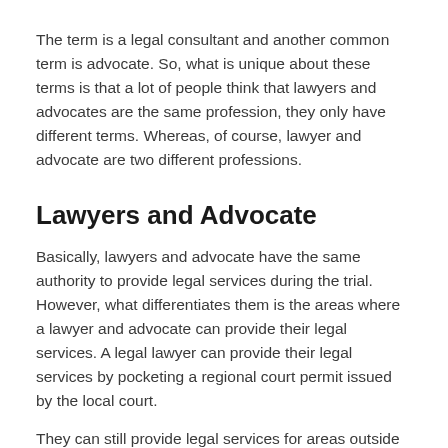The term is a legal consultant and another common term is advocate. So, what is unique about these terms is that a lot of people think that lawyers and advocates are the same profession, they only have different terms. Whereas, of course, lawyer and advocate are two different professions.
Lawyers and Advocate
Basically, lawyers and advocate have the same authority to provide legal services during the trial. However, what differentiates them is the areas where a lawyer and advocate can provide their legal services. A legal lawyer can provide their legal services by pocketing a regional court permit issued by the local court.
They can still provide legal services for areas outside their jurisdiction on the condition that they have